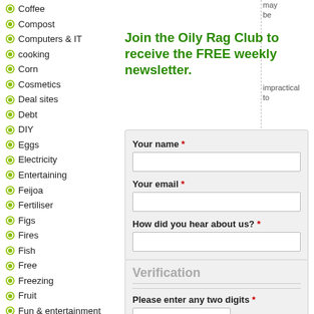Coffee
Compost
Computers & IT
cooking
Corn
Cosmetics
Deal sites
Debt
DIY
Eggs
Electricity
Entertaining
Feijoa
Fertiliser
Figs
Fires
Fish
Free
Freezing
Fruit
Fun & entertainment
Funerals
Furniture/interiors
Gardening
General
Join the Oily Rag Club to receive the FREE weekly newsletter.
may be
impractical to
The
Your name *
Your email *
How did you hear about us? *
Verification
Please enter any two digits *
Example: 12